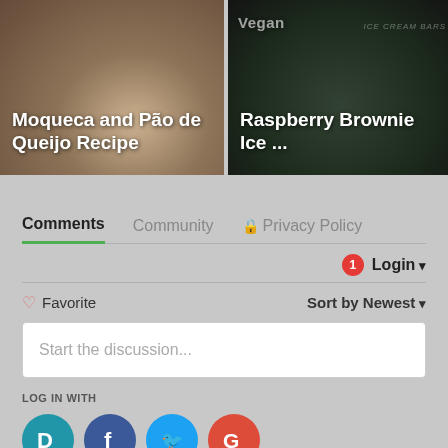[Figure (photo): Food recipe card showing Moqueca and Pão de Queijo Recipe on a light background]
[Figure (photo): Food recipe card showing Vegan Raspberry Brownie Ice Cream Bars on dark background]
Comments
Community
Privacy Policy
1 Login
♡ Favorite
Sort by Newest
Start the discussion...
LOG IN WITH
OR SIGN UP WITH DISQUS ?
Name